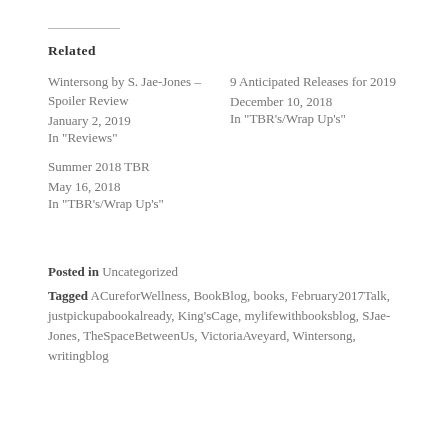Related
Wintersong by S. Jae-Jones – Spoiler Review
January 2, 2019
In "Reviews"
9 Anticipated Releases for 2019
December 10, 2018
In "TBR's/Wrap Up's"
Summer 2018 TBR
May 16, 2018
In "TBR's/Wrap Up's"
Posted in Uncategorized
Tagged ACureforWellness, BookBlog, books, February2017Talk, justpickupabookalready, King'sCage, mylifewithbooksblog, SJae-Jones, TheSpaceBetweenUs, VictoriaAveyard, Wintersong, writingblog